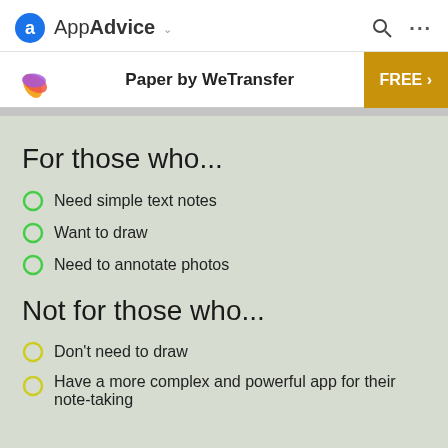AppAdvice
[Figure (screenshot): AppAdvice navigation bar with logo, brand name, search icon, and overflow menu]
Paper by WeTransfer — FREE >
For those who...
Need simple text notes
Want to draw
Need to annotate photos
Not for those who...
Don't need to draw
Have a more complex and powerful app for their note-taking